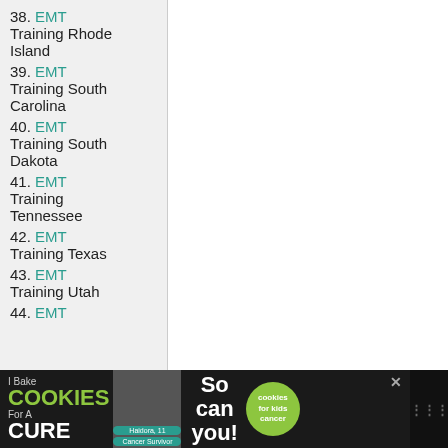38. EMT Training Rhode Island
39. EMT Training South Carolina
40. EMT Training South Dakota
41. EMT Training Tennessee
42. EMT Training Texas
43. EMT Training Utah
44. EMT (partial)
[Figure (infographic): Advertisement banner for 'I Bake Cookies For A Cure' charity campaign featuring a girl holding cookies, with text 'So can you!' and a Cookies for Kids Cancer logo. Close button (X) visible.]